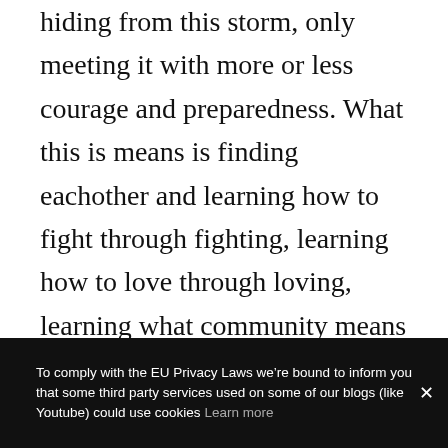hiding from this storm, only meeting it with more or less courage and preparedness. What this is means is finding eachother and learning how to fight through fighting, learning how to love through loving, learning what community means by making it, and learning what insurrection means by manifesting it. The only “safety” worthy of the name lies within the real movement of combat and collective love that blows apart
To comply with the EU Privacy Laws we’re bound to inform you that some third party services used on some of our blogs (like Youtube) could use cookies Learn more